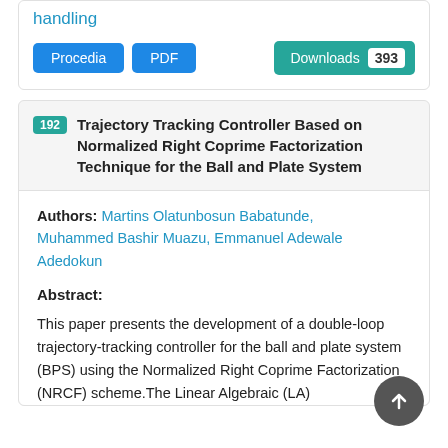handling
Procedia  PDF  Downloads 393
192 Trajectory Tracking Controller Based on Normalized Right Coprime Factorization Technique for the Ball and Plate System
Authors: Martins Olatunbosun Babatunde, Muhammed Bashir Muazu, Emmanuel Adewale Adedokun
Abstract:
This paper presents the development of a double-loop trajectory-tracking controller for the ball and plate system (BPS) using the Normalized Right Coprime Factorization (NRCF) scheme.The Linear Algebraic (LA)